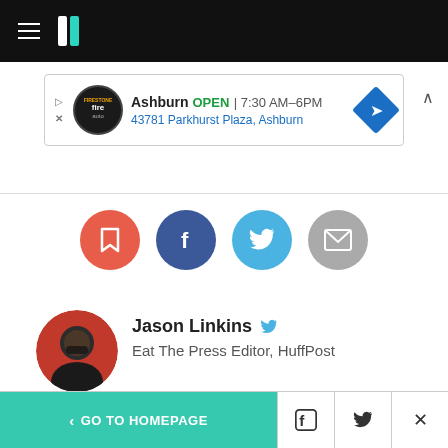HuffPost navigation bar with logo
[Figure (screenshot): Advertisement banner: Ashburn OPEN 7:30 AM–6PM, 43781 Parkhurst Plaza, Ashburn]
[Figure (infographic): Social sharing icons row: bookmark (red), Facebook (dark blue), Twitter (light blue), email (gray)]
[Figure (photo): Author photo of Jason Linkins, circular avatar]
Jason Linkins
Eat The Press Editor, HuffPost
Suggest a correction
< GO TO HOMEPAGE | Facebook | Twitter | X